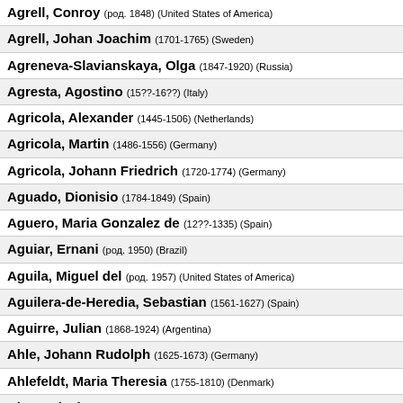Agrell, Conroy (род. 1848) (United States of America)
Agrell, Johan Joachim (1701-1765) (Sweden)
Agreneva-Slavianskaya, Olga (1847-1920) (Russia)
Agresta, Agostino (15??-16??) (Italy)
Agricola, Alexander (1445-1506) (Netherlands)
Agricola, Martin (1486-1556) (Germany)
Agricola, Johann Friedrich (1720-1774) (Germany)
Aguado, Dionisio (1784-1849) (Spain)
Aguero, Maria Gonzalez de (12??-1335) (Spain)
Aguiar, Ernani (род. 1950) (Brazil)
Aguila, Miguel del (род. 1957) (United States of America)
Aguilera-de-Heredia, Sebastian (1561-1627) (Spain)
Aguirre, Julian (1868-1924) (Argentina)
Ahle, Johann Rudolph (1625-1673) (Germany)
Ahlefeldt, Maria Theresia (1755-1810) (Denmark)
Aho, Kalevi (род. 1949) (Finland)
Ahvenainen, Veikko (род. 1929) (Finland)
Aiblinger, Johann Kaspar (1779-1867) (Germany)
Aichinger, Gregor (1565-1628) (Germany)